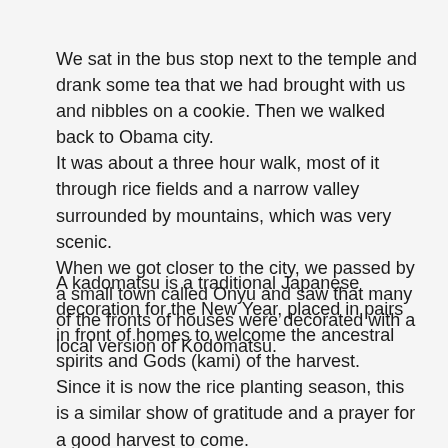We sat in the bus stop next to the temple and drank some tea that we had brought with us and nibbles on a cookie. Then we walked back to Obama city. It was about a three hour walk, most of it through rice fields and a narrow valley surrounded by mountains, which was very scenic. When we got closer to the city, we passed by a small town called Onyu and saw that many of the fronts of houses were decorated with a local version of Kodomatsu.
A kadomatsu is a traditional Japanese decoration for the New Year, placed in pairs in front of homes to welcome the ancestral spirits and Gods (kami) of the harvest. Since it is now the rice planting season, this is a similar show of gratitude and a prayer for a good harvest to come.